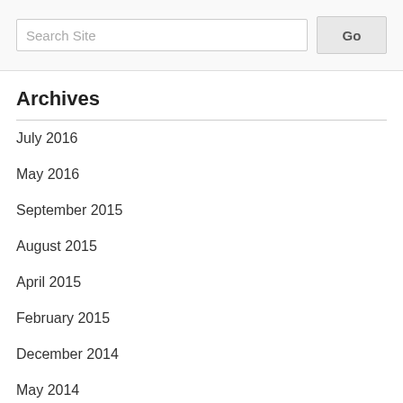Search Site | Go
Archives
July 2016
May 2016
September 2015
August 2015
April 2015
February 2015
December 2014
May 2014